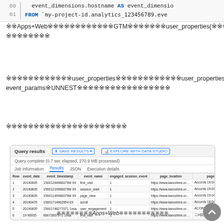event_dimensions.hostname AS event_dimensio…
FROM `my-project-id.analytics_123456789.eve…
※※Apps+Web※※※※※※※※※※※※GTM※※※※※※※user_properties(※※※※※※※※※※)※※※※※※※※※※
※※※※※※※※※※※※※※※※user_properties※※※※※※※※※※※※user_properties※※※※※※※※※event_params※UNNEST※※※※※※※※※※※※※※※※※
※※※※※※※※※※※※※※※※※※※※※※
[Figure (screenshot): Screenshot of BigQuery query results showing event data table with columns: Row, event_date, event_timestamp, event_name, engaged_session_event, page_location, page_title. Multiple rows of data visible.]
※※※※※※※※Apps+Web※※※※※※※※※※※